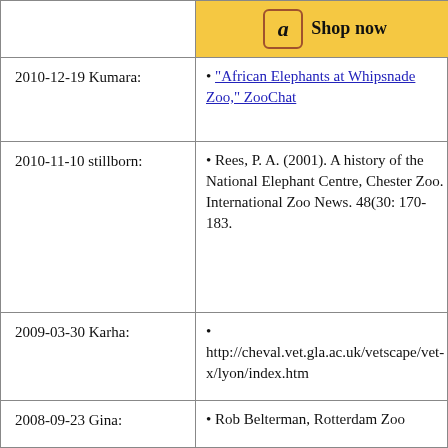[Figure (other): Amazon Shop now button/banner at top right]
2010-12-19 Kumara:
"African Elephants at Whipsnade Zoo," ZooChat
2010-11-10 stillborn:
Rees, P. A. (2001). A history of the National Elephant Centre, Chester Zoo. International Zoo News. 48(30: 170-183.
2009-03-30 Karha:
http://cheval.vet.gla.ac.uk/vetscape/vet-x/lyon/index.htm
2008-09-23 Gina:
Rob Belterman, Rotterdam Zoo
2008-09-23 Paula:
Rob Belterman, Rotterdam Zoo
2008-09-22 Bobo:
Rob Belterman, Rotterdam Zoo
• Christoffer Brack, Wüppertal, Germany. Facebook: https://web.facebook.com/profile.php?id=100073998771892